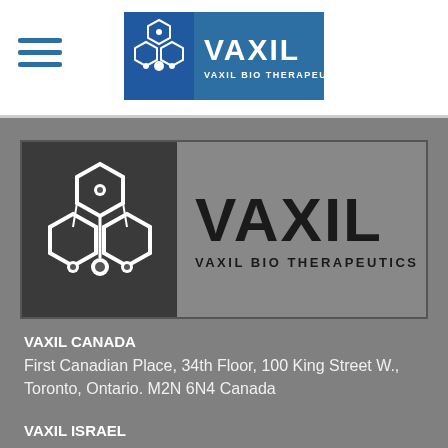[Figure (logo): Vaxil Bio Therapeutics logo in top navigation bar with blue background, honeycomb molecule icon and VAXIL text]
[Figure (logo): Large Vaxil Bio Therapeutics logo banner with dark left panel containing white honeycomb molecule icon, and gray right panel with VAXIL in large bold text and VAXIL BIO THERAPEUTICS subtitle]
VAXIL CANADA
First Canadian Place, 34th Floor, 100 King Street W., Toronto, Ontario. M2N 6N4 Canada
VAXIL ISRAEL
3 Pinhas Sapir Street, 3rd Floor, Weizmann Science Park, 74140, Rehovot, Israel